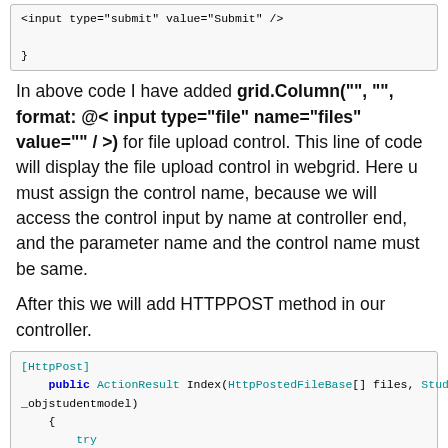[Figure (screenshot): Code snippet showing HTML input submit tag and closing brace]
In above code I have added grid.Column("", "", format: @< input type="file" name="files" value="" / >) for file upload control. This line of code will display the file upload control in webgrid. Here u must assign the control name, because we will access the control input by name at controller end, and the parameter name and the control name must be same.
After this we will add HTTPPOST method in our controller.
[Figure (screenshot): Code snippet showing [HttpPost] public ActionResult Index(HttpPostedFileBase[] files, StudentModel _objstudentmodel) { try { /*Lopp for multiple files*/ foreach (HttpPostedFileBase file in files) {]